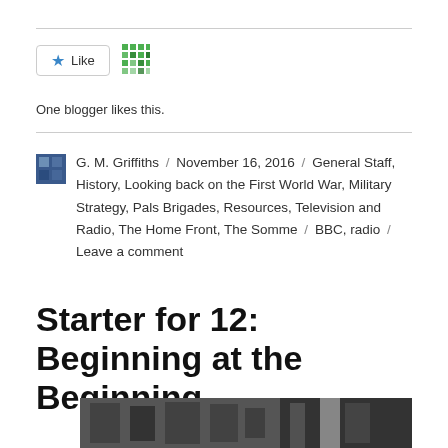[Figure (other): Like button with star icon and a green pixel-art avatar/grid icon]
One blogger likes this.
G. M. Griffiths / November 16, 2016 / General Staff, History, Looking back on the First World War, Military Strategy, Pals Brigades, Resources, Television and Radio, The Home Front, The Somme / BBC, radio / Leave a comment
Starter for 12: Beginning at the Beginning.
[Figure (photo): Black and white photograph showing buildings, partially visible at bottom of page]